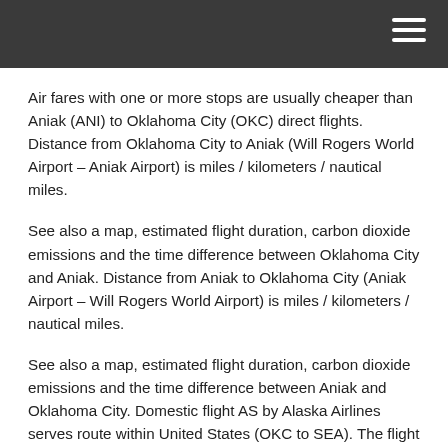Air fares with one or more stops are usually cheaper than Aniak (ANI) to Oklahoma City (OKC) direct flights. Distance from Oklahoma City to Aniak (Will Rogers World Airport – Aniak Airport) is miles / kilometers / nautical miles.
See also a map, estimated flight duration, carbon dioxide emissions and the time difference between Oklahoma City and Aniak. Distance from Aniak to Oklahoma City (Aniak Airport – Will Rogers World Airport) is miles / kilometers / nautical miles.
See also a map, estimated flight duration, carbon dioxide emissions and the time difference between Aniak and Oklahoma City. Domestic flight AS by Alaska Airlines serves route within United States (OKC to SEA). The flight duration to Oklahoma City Will